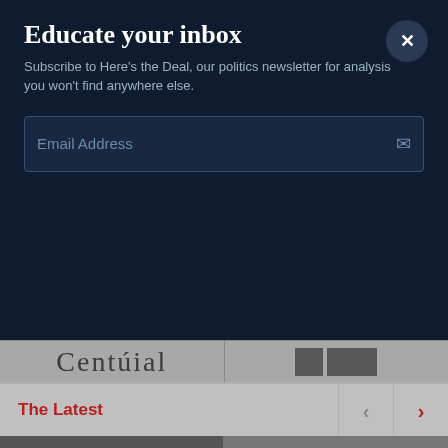Educate your inbox
Subscribe to Here's the Deal, our politics newsletter for analysis you won't find anywhere else.
Email Address
[Figure (logo): Centurion partial logo text visible at top of sponsor grid]
[Figure (logo): Dark block graphic partially visible at top right of sponsor grid]
[Figure (logo): Fidelity Investments logo with sunburst icon]
[Figure (logo): Friends of the NewsHour logo in dark text]
The Latest